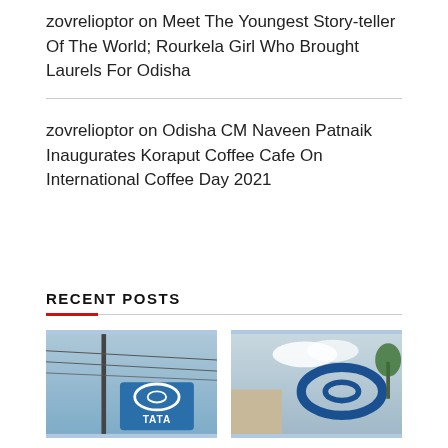zovrelioptor on Meet The Youngest Story-teller Of The World; Rourkela Girl Who Brought Laurels For Odisha
zovrelioptor on Odisha CM Naveen Patnaik Inaugurates Koraput Coffee Cafe On International Coffee Day 2021
RECENT POSTS
[Figure (photo): Photo of Tata logo sign against blue sky with wires]
[Figure (photo): Photo of Tata logo sign on building against cloudy sky]